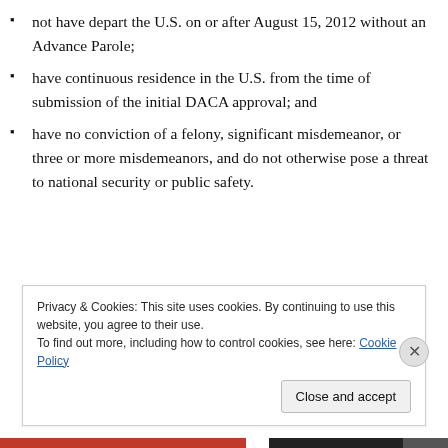not have depart the U.S. on or after August 15, 2012 without an Advance Parole;
have continuous residence in the U.S. from the time of submission of the initial DACA approval; and
have no conviction of a felony, significant misdemeanor, or three or more misdemeanors, and do not otherwise pose a threat to national security or public safety.
Privacy & Cookies: This site uses cookies. By continuing to use this website, you agree to their use.
To find out more, including how to control cookies, see here: Cookie Policy